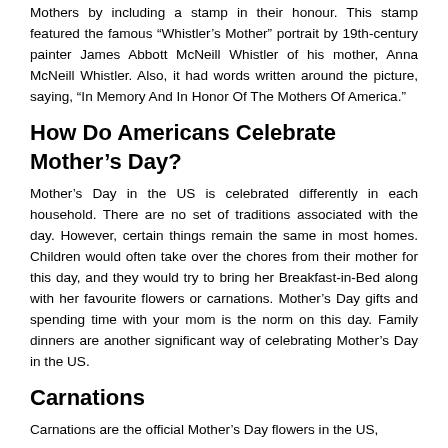Mothers by including a stamp in their honour. This stamp featured the famous “Whistler’s Mother” portrait by 19th-century painter James Abbott McNeill Whistler of his mother, Anna McNeill Whistler. Also, it had words written around the picture, saying, “In Memory And In Honor Of The Mothers Of America.”
How Do Americans Celebrate Mother’s Day?
Mother’s Day in the US is celebrated differently in each household. There are no set of traditions associated with the day. However, certain things remain the same in most homes. Children would often take over the chores from their mother for this day, and they would try to bring her Breakfast-in-Bed along with her favourite flowers or carnations. Mother’s Day gifts and spending time with your mom is the norm on this day. Family dinners are another significant way of celebrating Mother’s Day in the US.
Carnations
Carnations are the official Mother’s Day flowers in the US,